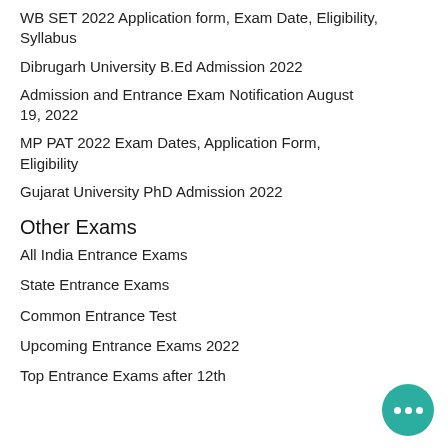WB SET 2022 Application form, Exam Date, Eligibility, Syllabus
Dibrugarh University B.Ed Admission 2022
Admission and Entrance Exam Notification August 19, 2022
MP PAT 2022 Exam Dates, Application Form, Eligibility
Gujarat University PhD Admission 2022
Other Exams
All India Entrance Exams
State Entrance Exams
Common Entrance Test
Upcoming Entrance Exams 2022
Top Entrance Exams after 12th